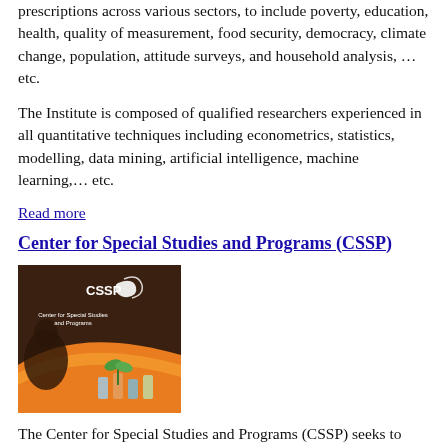prescriptions across various sectors, to include poverty, education, health, quality of measurement, food security, democracy, climate change, population, attitude surveys, and household analysis, … etc.
The Institute is composed of qualified researchers experienced in all quantitative techniques including econometrics, statistics, modelling, data mining, artificial intelligence, machine learning,… etc.
Read more
Center for Special Studies and Programs (CSSP)
[Figure (photo): CSSP logo and branding image showing a dark brown and orange curved design with a plant seedling and laboratory equipment, with CSSP logo and text 'Center for Special Studies and Programs']
The Center for Special Studies and Programs (CSSP) seeks to create a generation of innovative researchers through research